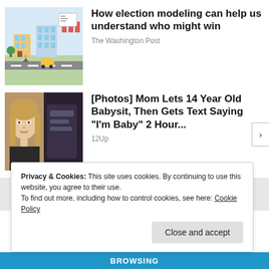[Figure (illustration): Colorful isometric illustration of a city/town with buildings, cars, and people — election modeling themed graphic]
How election modeling can help us understand who might win
The Washington Post
[Figure (photo): Photo of a young teenage girl with long blonde hair looking serious, split with a darker background image]
[Photos] Mom Lets 14 Year Old Babysit, Then Gets Text Saying "I'm Baby" 2 Hour...
12Up
Privacy & Cookies: This site uses cookies. By continuing to use this website, you agree to their use.
To find out more, including how to control cookies, see here: Cookie Policy
Close and accept